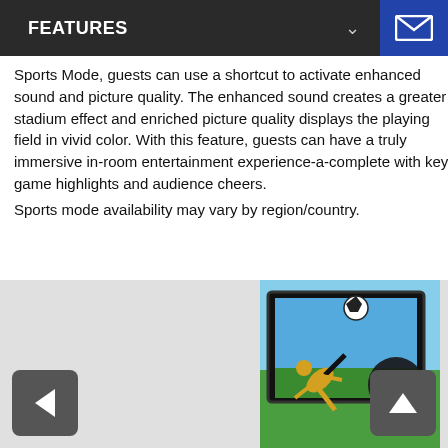FEATURES
Sports Mode, guests can use a shortcut to activate enhanced sound and picture quality. The enhanced sound creates a greater stadium effect and enriched picture quality displays the playing field in vivid color. With this feature, guests can have a truly immersive in-room entertainment experience-a-complete with key game highlights and audience cheers.
Sports mode availability may vary by region/country.
[Figure (photo): Photo of a soccer/football player performing a bicycle kick in front of a TV screen displaying a football match. A remote control button labeled FOOTBALL with a soccer ball icon is shown overlaid in the bottom right corner.]